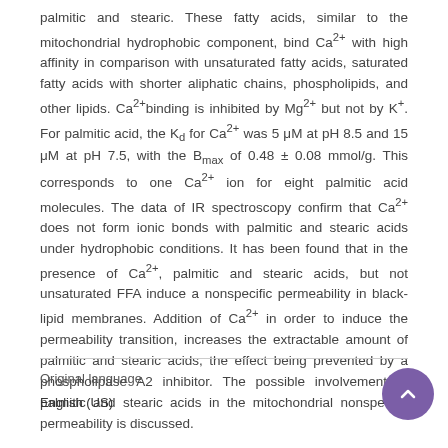palmitic and stearic. These fatty acids, similar to the mitochondrial hydrophobic component, bind Ca2+ with high affinity in comparison with unsaturated fatty acids, saturated fatty acids with shorter aliphatic chains, phospholipids, and other lipids. Ca2+binding is inhibited by Mg2+ but not by K+. For palmitic acid, the Kd for Ca2+ was 5 μM at pH 8.5 and 15 μM at pH 7.5, with the Bmax of 0.48 ± 0.08 mmol/g. This corresponds to one Ca2+ ion for eight palmitic acid molecules. The data of IR spectroscopy confirm that Ca2+ does not form ionic bonds with palmitic and stearic acids under hydrophobic conditions. It has been found that in the presence of Ca2+, palmitic and stearic acids, but not unsaturated FFA induce a nonspecific permeability in black-lipid membranes. Addition of Ca2+ in order to induce the permeability transition, increases the extractable amount of palmitic and stearic acids, the effect being prevented by a phospholipase A2 inhibitor. The possible involvement of palmitic and stearic acids in the mitochondrial nonspecific permeability is discussed.
Original language
English (US)